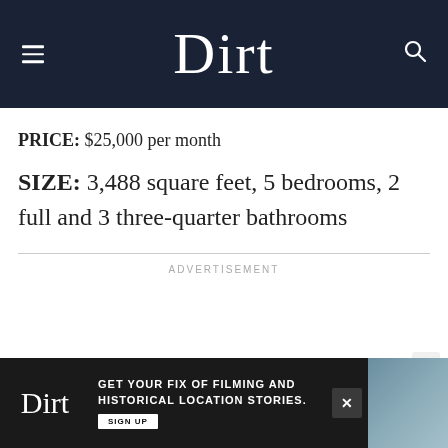Dirt
PRICE: $25,000 per month
SIZE: 3,488 square feet, 5 bedrooms, 2 full and 3 three-quarter bathrooms
ADVERTISEMENT
[Figure (screenshot): Bottom advertisement banner for Dirt website: 'GET YOUR FIX OF FILMING AND HISTORICAL LOCATION STORIES. SIGN UP']